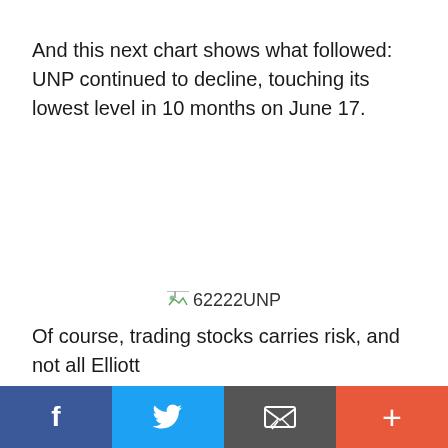And this next chart shows what followed: UNP continued to decline, touching its lowest level in 10 months on June 17.
[Figure (other): Broken image placeholder showing '62222UNP' — a chart image that failed to load, depicting UNP stock price decline]
Of course, trading stocks carries risk, and not all Elliott
Social share bar with Facebook, Twitter, Email, and More buttons